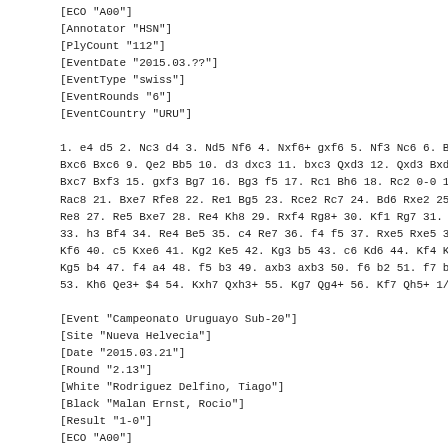[ECO "A00"]
[Annotator "HSN"]
[PlyCount "112"]
[EventDate "2015.03.??"]
[EventType "swiss"]
[EventRounds "6"]
[EventCountry "URU"]

1. e4 d5 2. Nc3 d4 3. Nd5 Nf6 4. Nxf6+ gxf6 5. Nf3 Nc6 6. Bb5 Bxc6 Bxc6 9. Qe2 Bb5 10. d3 dxc3 11. bxc3 Qxd3 12. Qxd3 Bxd3 1 Bxc7 Bxf3 15. gxf3 Bg7 16. Bg3 f5 17. Rc1 Bh6 18. Rc2 0-0 19. Rac8 21. Bxe7 Rfe8 22. Re1 Bg5 23. Rce2 Rc7 24. Bd6 Rxe2 25. R Re8 27. Re5 Bxe7 28. Re4 Kh8 29. Rxf4 Rg8+ 30. Kf1 Rg7 31. Re4 33. h3 Bf4 34. Re4 Be5 35. c4 Re7 36. f4 f5 37. Rxe5 Rxe5 38. Kf6 40. c5 Kxe6 41. Kg2 Ke5 42. Kg3 b5 43. c6 Kd6 44. Kf4 Kxc6 Kg5 b4 47. f4 a4 48. f5 b3 49. axb3 axb3 50. f6 b2 51. f7 b1=Q 53. Kh6 Qe3+ $4 54. Kxh7 Qxh3+ 55. Kg7 Qg4+ 56. Kf7 Qh5+ 1/2-1

[Event "Campeonato Uruguayo Sub-20"]
[Site "Nueva Helvecia"]
[Date "2015.03.21"]
[Round "2.13"]
[White "Rodriguez Delfino, Tiago"]
[Black "Malan Ernst, Rocio"]
[Result "1-0"]
[ECO "A00"]
[PlyCount "127"]
[EventDate "2015.03.??"]
[EventType "swiss"]
[EventRounds "6"]
[EventCountry "URU"]
[Event "Campeonato Uruguayo Sub-20"]
[Site "Nueva Helvecia"]
[Date "2015.03.21"]
[Round "2.13"]
[White "Rodriguez Delfino, Tiago"]
[Black "Malan Ernst, Rocio"]
[Result "1-0"]
[ECO "A00"]
[PlyCount "127"]
[EventDate "2015.03.??"]
[EventType "swiss"]
[EventRounds "6"]
[EventCountry "URU"]